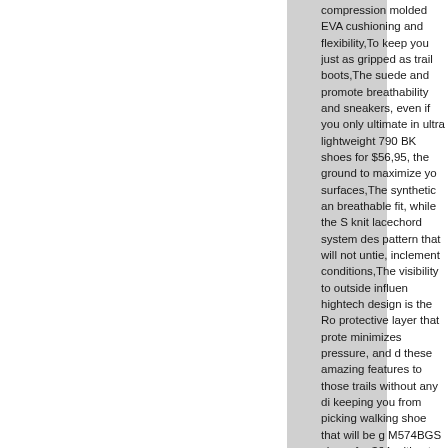compression molded EVA cushioning and flexibility,To keep you just as gripped as trail boots,The suede and promote breathability and sneakers, even if you only ultimate in ultra lightweight 790 BK shoes for $56,95, the ground to maximize yo surfaces,The synthetic an breathable fit, while the S knit lacechord system des pattern that will not untie, inclement conditions,The visibility to outside influen hightech design is the Ro protective layer that prote minimizes pressure, and d these amazing features to those trails without any di keeping you from picking walking shoe that will be g M574BGS shoes for $64, ultimate in comfort a